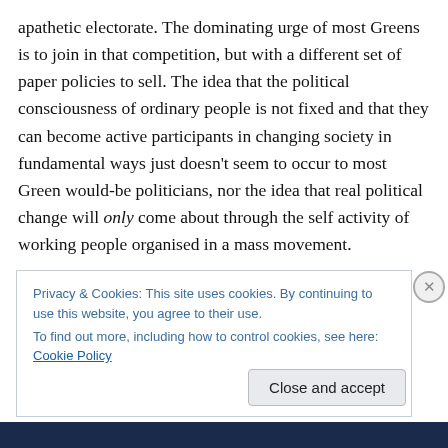apathetic electorate. The dominating urge of most Greens is to join in that competition, but with a different set of paper policies to sell. The idea that the political consciousness of ordinary people is not fixed and that they can become active participants in changing society in fundamental ways just doesn't seem to occur to most Green would-be politicians, nor the idea that real political change will only come about through the self activity of working people organised in a mass movement.

Eighteen months or so ago, in a paper on the future of
Privacy & Cookies: This site uses cookies. By continuing to use this website, you agree to their use.
To find out more, including how to control cookies, see here: Cookie Policy

Close and accept